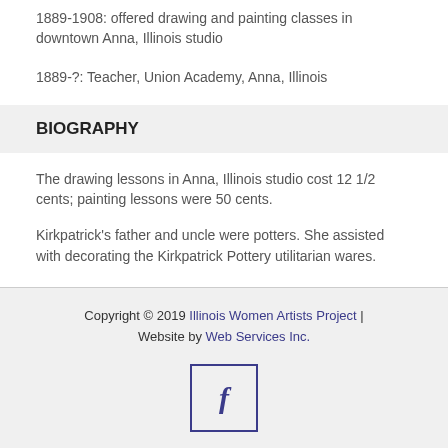1889-1908: offered drawing and painting classes in downtown Anna, Illinois studio
1889-?: Teacher, Union Academy, Anna, Illinois
BIOGRAPHY
The drawing lessons in Anna, Illinois studio cost 12 1/2 cents; painting lessons were 50 cents.
Kirkpatrick's father and uncle were potters. She assisted with decorating the Kirkpatrick Pottery utilitarian wares.
Copyright © 2019 Illinois Women Artists Project | Website by Web Services Inc.